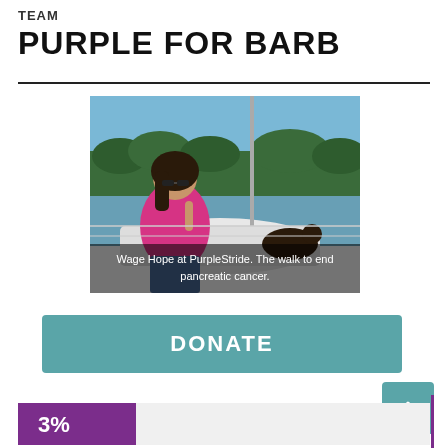TEAM
PURPLE FOR BARB
[Figure (photo): Woman in pink top sitting on a boat on a lake, wearing sunglasses, with trees in background. Overlay text: 'Wage Hope at PurpleStride. The walk to end pancreatic cancer.']
Wage Hope at PurpleStride. The walk to end pancreatic cancer.
DONATE
3%